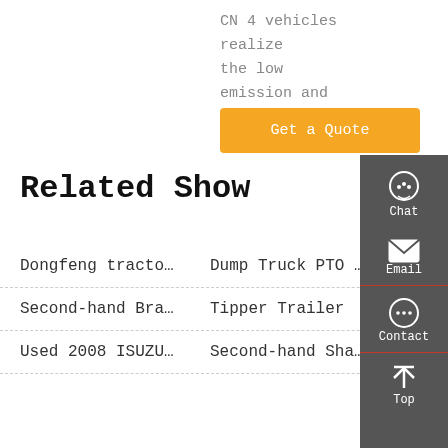CN 4 vehicles realize the low emission and low …
Get a Quote
Related Show
Dongfeng tracto…
Dump Truck PTO …
Second-hand Bra…
Tipper Trailer
Used 2008 ISUZU…
Second-hand Sha…
[Figure (infographic): Sidebar with Chat, Email, Contact, and Top navigation icons on dark grey background]